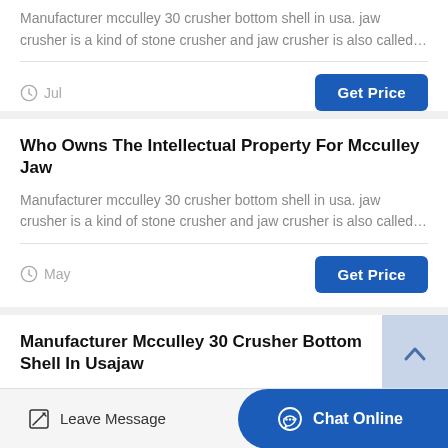Manufacturer mcculley 30 crusher bottom shell in usa. jaw crusher is a kind of stone crusher and jaw crusher is also called…
Jul
Get Price
Who Owns The Intellectual Property For Mcculley Jaw
Manufacturer mcculley 30 crusher bottom shell in usa. jaw crusher is a kind of stone crusher and jaw crusher is also called…
May
Get Price
Manufacturer Mcculley 30 Crusher Bottom Shell In Usajaw
Leave Message
Chat Online